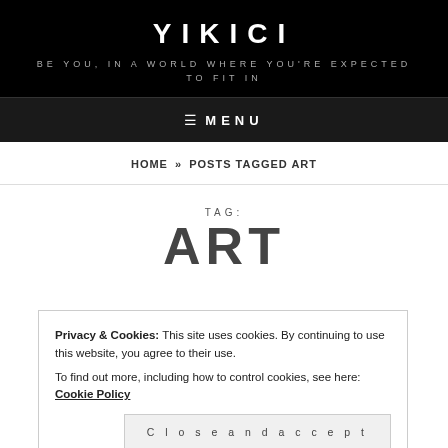YIKICI
BE YOU, IN A WORLD WHERE YOU'RE EXPECTED TO FIT IN
≡ MENU
HOME » POSTS TAGGED ART
TAG:
ART
Privacy & Cookies: This site uses cookies. By continuing to use this website, you agree to their use.
To find out more, including how to control cookies, see here: Cookie Policy
Close and accept